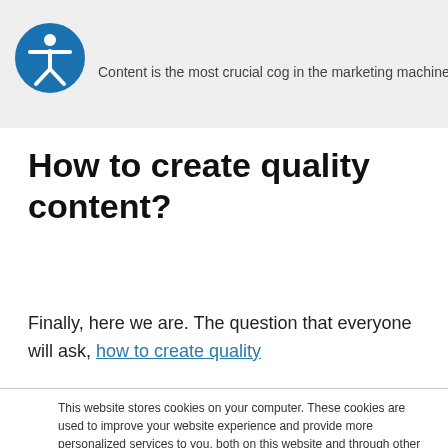[Figure (logo): Accessibility icon — blue circle with white stylized person figure]
Content is the most crucial cog in the marketing machinery
How to create quality content?
Finally, here we are. The question that everyone will ask, how to create quality
This website stores cookies on your computer. These cookies are used to improve your website experience and provide more personalized services to you, both on this website and through other media. To find out more about the cookies we use, see our Privacy Policy.
Disclaimer: In order to comply with your preferences, we'll have to use just one cookie so that you're not asked to make this choice again.
Cookie Settings   Accept   Decline